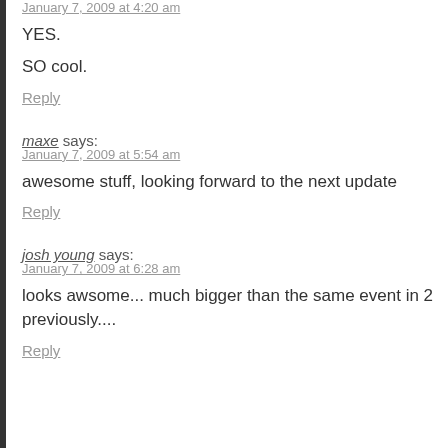January 7, 2009 at 4:20 am
YES.
SO cool.
Reply
maxe says:
January 7, 2009 at 5:54 am
awesome stuff, looking forward to the next update
Reply
josh young says:
January 7, 2009 at 6:28 am
looks awsome... much bigger than the same event in 2 previously....
Reply